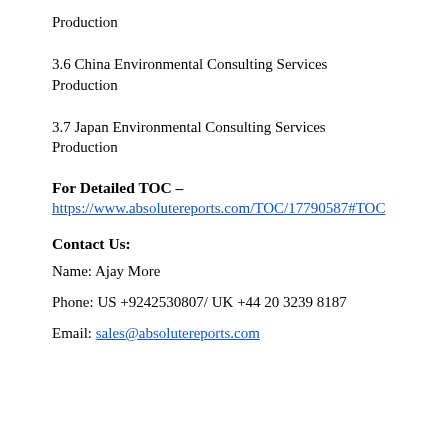Production
3.6 China Environmental Consulting Services Production
3.7 Japan Environmental Consulting Services Production
For Detailed TOC –
https://www.absolutereports.com/TOC/17790587#TOC
Contact Us:
Name: Ajay More
Phone: US +9242530807/ UK +44 20 3239 8187
Email: sales@absolutereports.com